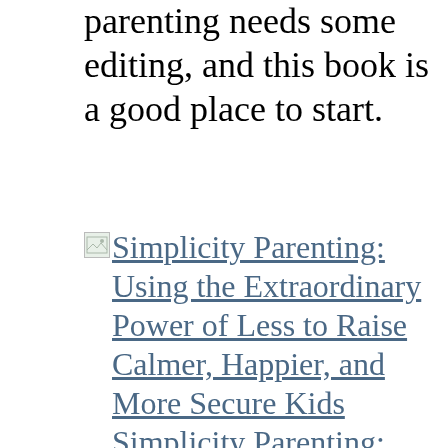parenting needs some editing, and this book is a good place to start.
[Figure (illustration): Small broken image icon placeholder for book cover of Simplicity Parenting]
Simplicity Parenting: Using the Extraordinary Power of Less to Raise Calmer, Happier, and More Secure Kids Simplicity Parenting: Using the Extraordinary Power of Less to Raise Calmer, Happier, and More Secure Kids by Kim John Payne
My rating: 4 of 5 stars